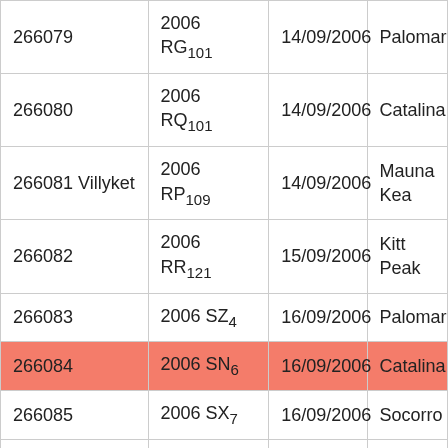| 266079 | 2006 RG₁₀₁ | 14/09/2006 | Palomar |
| 266080 | 2006 RQ₁₀₁ | 14/09/2006 | Catalina |
| 266081 Villyket | 2006 RP₁₀₉ | 14/09/2006 | Mauna Kea |
| 266082 | 2006 RR₁₂₁ | 15/09/2006 | Kitt Peak |
| 266083 | 2006 SZ₄ | 16/09/2006 | Palomar |
| 266084 | 2006 SN₆ | 16/09/2006 | Catalina |
| 266085 | 2006 SX₇ | 16/09/2006 | Socorro |
| 266086 | 2006 SA₂₁ | 16/09/2006 | Anderson Mesa |